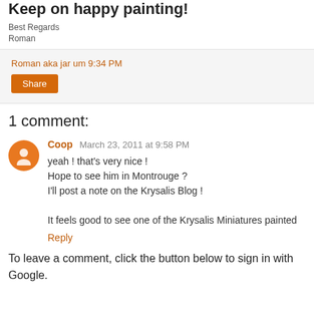Keep on happy painting!
Best Regards
Roman
Roman aka jar um 9:34 PM
1 comment:
Coop March 23, 2011 at 9:58 PM
yeah ! that's very nice !
Hope to see him in Montrouge ?
I'll post a note on the Krysalis Blog !

It feels good to see one of the Krysalis Miniatures painted
Reply
To leave a comment, click the button below to sign in with Google.